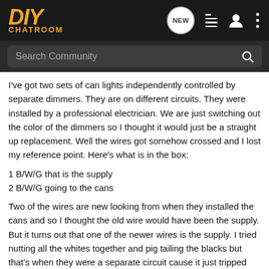DIY CHATROOM
Search Community
I've got two sets of can lights independently controlled by separate dimmers. They are on different circuits. They were installed by a professional electrician. We are just switching out the color of the dimmers so I thought it would just be a straight up replacement. Well the wires got somehow crossed and I lost my reference point. Here's what is in the box:
1 B/W/G that is the supply
2 B/W/G going to the cans
Two of the wires are new looking from when they installed the cans and so I thought the old wire would have been the supply. But it turns out that one of the newer wires is the supply. I tried nutting all the whites together and pig tailing the blacks but that's when they were a separate circuit cause it just tripped the